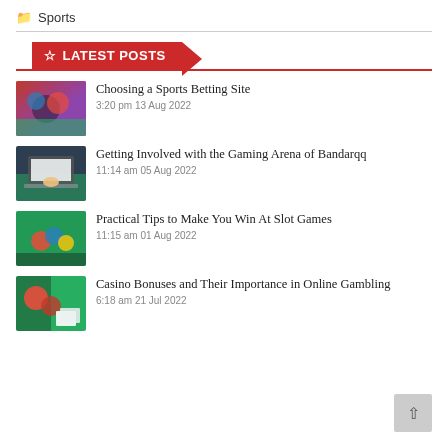Sports
LATEST POSTS
Choosing a Sports Betting Site
3:20 pm 13 Aug 2022
Getting Involved with the Gaming Arena of Bandarqq
11:14 am 05 Aug 2022
Practical Tips to Make You Win At Slot Games
11:15 am 01 Aug 2022
Casino Bonuses and Their Importance in Online Gambling
6:18 am 21 Jul 2022